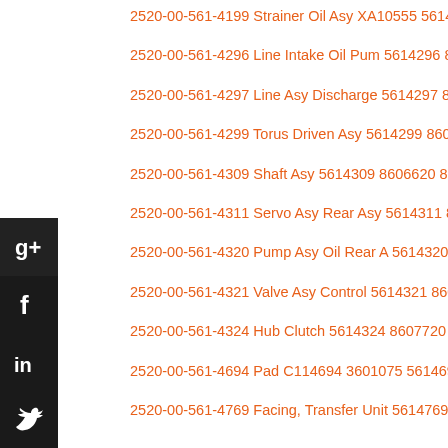2520-00-561-4199 Strainer Oil Asy XA10555 5614199
2520-00-561-4296 Line Intake Oil Pum 5614296 8606612 8606612
2520-00-561-4297 Line Asy Discharge 5614297 8606603 8606630
2520-00-561-4299 Torus Driven Asy 5614299 8606662 8606662
2520-00-561-4309 Shaft Asy 5614309 8606620 8606620
2520-00-561-4311 Servo Asy Rear Asy 5614311 8607263 8607263
2520-00-561-4320 Pump Asy Oil Rear A 5614320 8607671 8607671
2520-00-561-4321 Valve Asy Control 5614321 8607676 8607676 8
2520-00-561-4324 Hub Clutch 5614324 8607720 8607720
2520-00-561-4694 Pad C114694 3601075 5614694
2520-00-561-4769 Facing, Transfer Unit 5614769